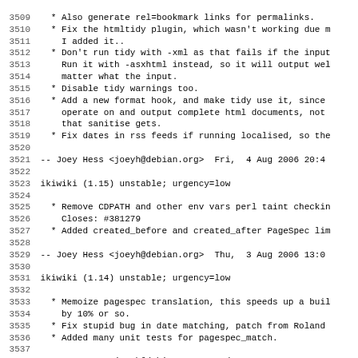Debian changelog / source code log lines 3509-3541
3509   * Also generate rel=bookmark links for permalinks.
3510   * Fix the htmltidy plugin, which wasn't working due m
3511     I added it..
3512   * Don't run tidy with -xml as that fails if the input
3513     Run it with -asxhtml instead, so it will output wel
3514     matter what the input.
3515   * Disable tidy warnings too.
3516   * Add a new format hook, and make tidy use it, since
3517     operate on and output complete html documents, not
3518     that sanitise gets.
3519   * Fix dates in rss feeds if running localised, so the
3520
3521  -- Joey Hess <joeyh@debian.org>  Fri,  4 Aug 2006 20:4
3522
3523 ikiwiki (1.15) unstable; urgency=low
3524
3525   * Remove CDPATH and other env vars perl taint checkin
3526     Closes: #381279
3527   * Added created_before and created_after PageSpec lim
3528
3529  -- Joey Hess <joeyh@debian.org>  Thu,  3 Aug 2006 13:0
3530
3531 ikiwiki (1.14) unstable; urgency=low
3532
3533   * Memoize pagespec translation, this speeds up a buil
3534     by 10% or so.
3535   * Fix stupid bug in date matching, patch from Roland
3536   * Added many unit tests for pagespec_match.
3537
3538  -- Joey Hess <joeyh@debian.org>  Wed,  2 Aug 2006 11:3
3539
3540 ikiwiki (1.13) unstable; urgency=low
3541